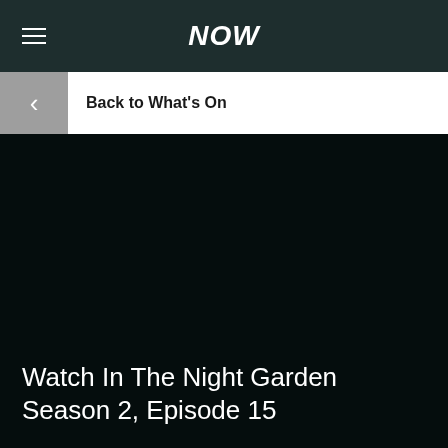NOW
Back to What's On
[Figure (screenshot): Dark nearly black background area representing a video/content area for the NOW streaming service]
Watch In The Night Garden Season 2, Episode 15